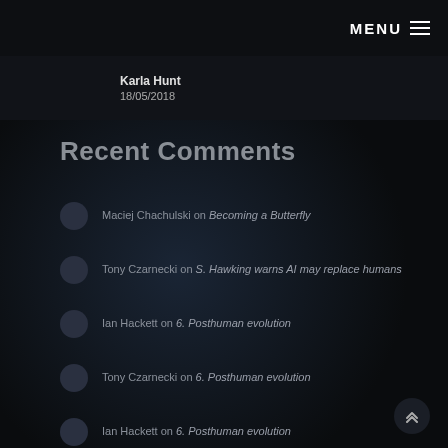MENU
Karla Hunt
18/05/2018
Recent Comments
Maciej Chachulski on Becoming a Butterfly
Tony Czarnecki on S. Hawking warns AI may replace humans
Ian Hackett on 6. Posthuman evolution
Tony Czarnecki on 6. Posthuman evolution
Ian Hackett on 6. Posthuman evolution